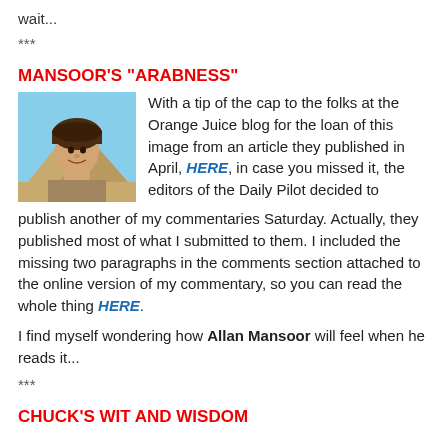wait...
***
MANSOOR'S "ARABNESS"
[Figure (photo): Photo of a man wearing a dark brown headwrap/turban with Egyptian pyramids in the background]
With a tip of the cap to the folks at the Orange Juice blog for the loan of this image from an article they published in April, HERE, in case you missed it, the editors of the Daily Pilot decided to publish another of my commentaries Saturday. Actually, they published most of what I submitted to them. I included the missing two paragraphs in the comments section attached to the online version of my commentary, so you can read the whole thing HERE.
I find myself wondering how Allan Mansoor will feel when he reads it...
***
CHUCK'S WIT AND WISDOM